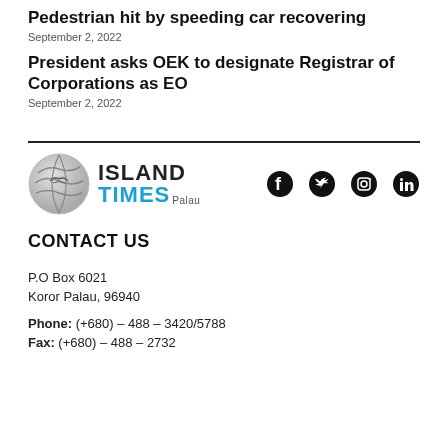Pedestrian hit by speeding car recovering
September 2, 2022
President asks OEK to designate Registrar of Corporations as EO
September 2, 2022
[Figure (logo): Island Times Palau newspaper logo with globe icon and social media icons (Facebook, Twitter, Instagram, LinkedIn)]
CONTACT US
P.O Box 6021
Koror Palau, 96940
Phone: (+680) – 488 – 3420/5788
Fax: (+680) – 488 – 2732